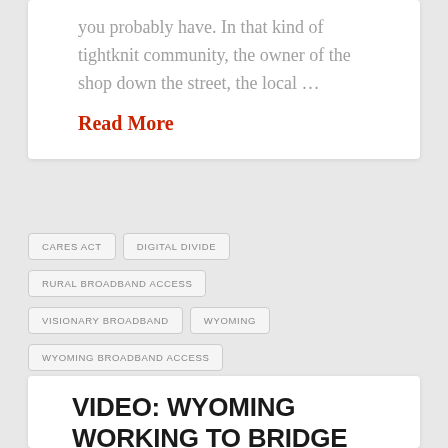you probably have. In that kind of tightknit community, the owner of the shop down the street, the local …
Read More
CARES ACT
DIGITAL DIVIDE
RURAL BROADBAND ACCESS
VISIONARY BROADBAND
WYOMING
WYOMING BROADBAND ACCESS
WYOMING STATE BROADBAND PROGRAM
VIDEO: WYOMING WORKING TO BRIDGE